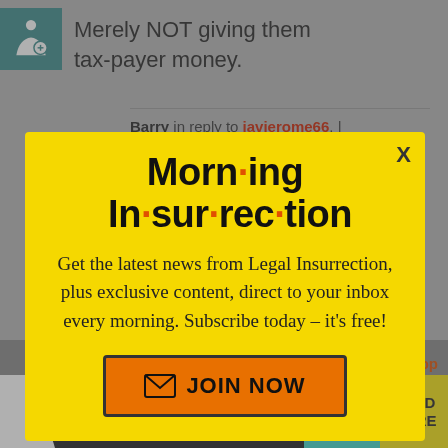Merely NOT giving them tax-payer money.
Barry in reply to javierome66. |
[Figure (screenshot): Morning Insurrection email newsletter popup modal with yellow background, close button X, title 'Morn·ing In·sur·rec·tion', body text 'Get the latest news from Legal Insurrection, plus exclusive content, direct to your inbox every morning. Subscribe today – it's free!', and orange JOIN NOW button]
PaddyORyan | September 19, 2015 at 10:49 CT
[Figure (screenshot): Bottom ad banner with THE PERSPECTIVE logo, 'SEE WHAT YOU'RE MISSING' text, teal section, and yellow READ MORE button]